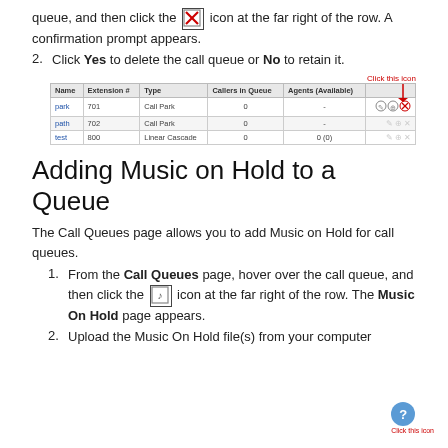queue, and then click the [X icon] icon at the far right of the row. A confirmation prompt appears.
2. Click Yes to delete the call queue or No to retain it.
[Figure (screenshot): Screenshot of Call Queues table with columns Name, Extension #, Type, Callers in Queue, Agents (Available). Rows: park 701 Call Park 0 -, path 702 Call Park 0 -, test 800 Linear Cascade 0 0(0). A red arrow points to icons at far right with label 'Click this icon'.]
Adding Music on Hold to a Queue
The Call Queues page allows you to add Music on Hold for call queues.
1. From the Call Queues page, hover over the call queue, and then click the [music note icon] icon at the far right of the row. The Music On Hold page appears.
2. Upload the Music On Hold file(s) from your computer